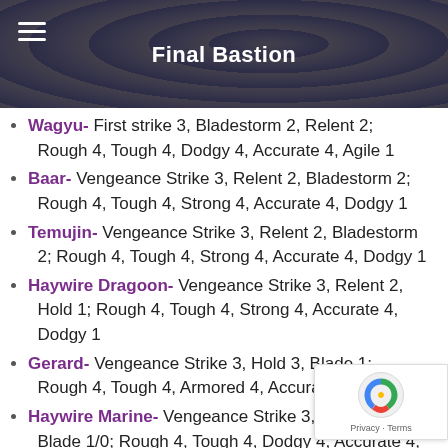Final Bastion
Wagyu- First strike 3, Bladestorm 2, Relent 2; Rough 4, Tough 4, Dodgy 4, Accurate 4, Agile 1
Baar- Vengeance Strike 3, Relent 2, Bladestorm 2; Rough 4, Tough 4, Strong 4, Accurate 4, Dodgy 1
Temujin- Vengeance Strike 3, Relent 2, Bladestorm 2; Rough 4, Tough 4, Strong 4, Accurate 4, Dodgy 1
Haywire Dragoon- Vengeance Strike 3, Relent 2, Hold 1; Rough 4, Tough 4, Strong 4, Accurate 4, Dodgy 1
Gerard- Vengeance Strike 3, Hold 3, Blade 1; Rough 4, Tough 4, Armored 4, Accurate 4, S...
Haywire Marine- Vengeance Strike 3, Hold ...; Blade 1/0; Rough 4, Tough 4, Dodgy 4, Accurate 4...